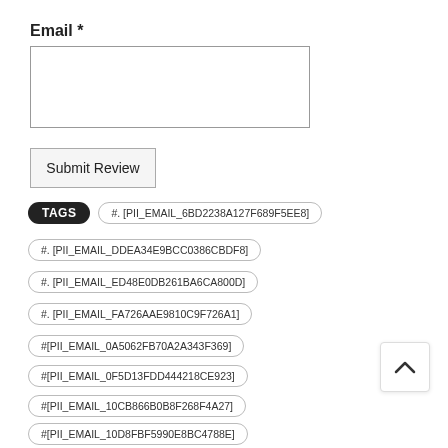Email *
Submit Review
TAGS   #. [PII_EMAIL_6BD2238A127F689F5EE8]
#. [PII_EMAIL_DDEA34E9BCC0386CBDF8]
#. [PII_EMAIL_ED48E0DB261BA6CA800D]
#. [PII_EMAIL_FA726AAE9810C9F726A1]
#[PII_EMAIL_0A5062FB70A2A343F369]
#[PII_EMAIL_0F5D13FDD444218CE923]
#[PII_EMAIL_10CB866B0B8F268F4A27]
#[PII_EMAIL_10D8FBF5990E8BC4788E]
#[PII_EMAIL_12E95E5CAC8028ACCE08]
#[PII_EMAIL_1636A48BBAD506FB6D79]